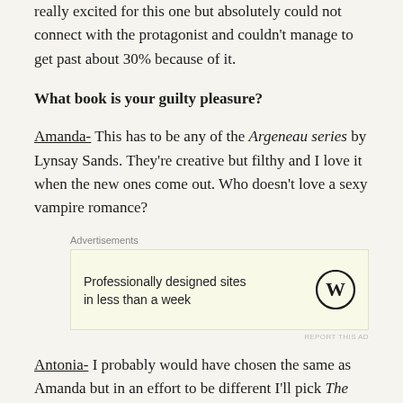really excited for this one but absolutely could not connect with the protagonist and couldn't manage to get past about 30% because of it.
What book is your guilty pleasure?
Amanda- This has to be any of the Argeneau series by Lynsay Sands. They're creative but filthy and I love it when the new ones come out. Who doesn't love a sexy vampire romance?
Advertisements
Professionally designed sites in less than a week
REPORT THIS AD
Antonia- I probably would have chosen the same as Amanda but in an effort to be different I'll pick The